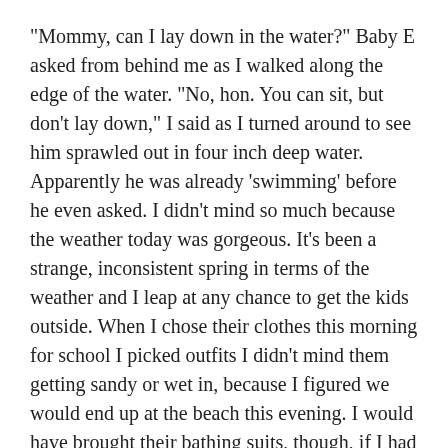“Mommy, can I lay down in the water?” Baby E asked from behind me as I walked along the edge of the water. “No, hon. You can sit, but don’t lay down,” I said as I turned around to see him sprawled out in four inch deep water. Apparently he was already ‘swimming’ before he even asked. I didn’t mind so much because the weather today was gorgeous. It’s been a strange, inconsistent spring in terms of the weather and I leap at any chance to get the kids outside. When I chose their clothes this morning for school I picked outfits I didn’t mind them getting sandy or wet in, because I figured we would end up at the beach this evening. I would have brought their bathing suits, though, if I had known how drenched they were going to get. 🙂
And yes, I did make Baby E take off his pants to play in the